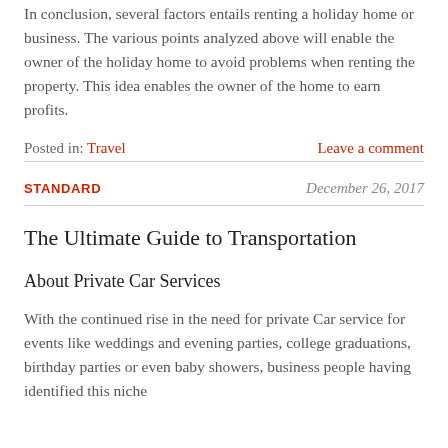In conclusion, several factors entails renting a holiday home or business. The various points analyzed above will enable the owner of the holiday home to avoid problems when renting the property. This idea enables the owner of the home to earn profits.
Posted in: Travel   Leave a comment
STANDARD   December 26, 2017
The Ultimate Guide to Transportation
About Private Car Services
With the continued rise in the need for private Car service for events like weddings and evening parties, college graduations, birthday parties or even baby showers, business people having identified this niche